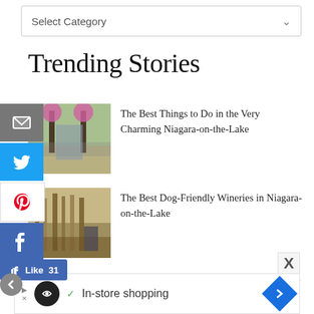Select Category
Trending Stories
The Best Things to Do in the Very Charming Niagara-on-the-Lake
[Figure (photo): Scenic street view with lamp posts and flowers in Niagara-on-the-Lake]
The Best Dog-Friendly Wineries in Niagara-on-the-Lake
[Figure (photo): Dog-friendly winery entrance with tall reeds]
Best Things to Do in the Enchanting Village of Jordan
[Figure (photo): Village of Jordan with buildings and parking]
In-store shopping